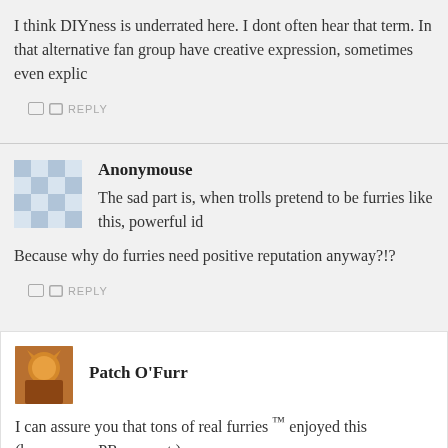I think DIYness is underrated here. I dont often hear that term. In that alternative fan group have creative expression, sometimes even explic
REPLY
Anonymouse
The sad part is, when trolls pretend to be furries like this, powerful id
Because why do furries need positive reputation anyway?!?
REPLY
Patch O'Furr
I can assure you that tons of real furries ™ enjoyed this (however, w PR account.)
REPLY